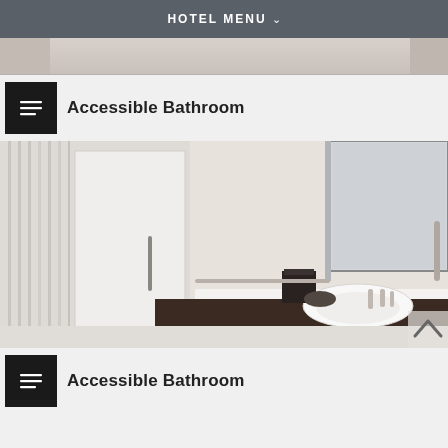HOTEL MENU
[Figure (photo): Partial view of a hotel bathroom, top portion cropped]
Accessible Bathroom
[Figure (photo): Accessible hotel bathroom with roll-in shower and accessible sink with grab bars and large mirror]
Accessible Bathroom